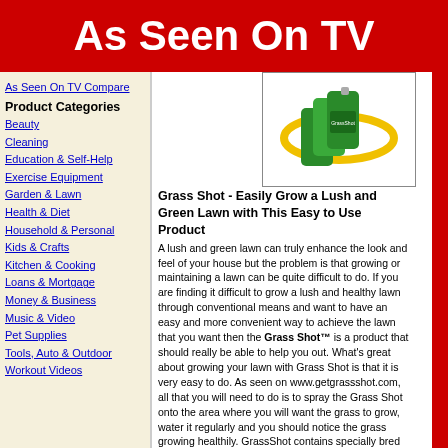As Seen On TV
As Seen On TV Compare
Product Categories
Beauty
Cleaning
Education & Self-Help
Exercise Equipment
Garden & Lawn
Health & Diet
Household & Personal
Kids & Crafts
Kitchen & Cooking
Loans & Mortgage
Money & Business
Music & Video
Pet Supplies
Tools, Auto & Outdoor
Workout Videos
[Figure (photo): Green Grass Shot product canisters with yellow swirl design on white background]
Grass Shot - Easily Grow a Lush and Green Lawn with This Easy to Use Product
A lush and green lawn can truly enhance the look and feel of your house but the problem is that growing or maintaining a lawn can be quite difficult to do. If you are finding it difficult to grow a lush and healthy lawn through conventional means and want to have an easy and more convenient way to achieve the lawn that you want then the Grass Shot™ is a product that should really be able to help you out. What's great about growing your lawn with Grass Shot is that it is very easy to do. As seen on www.getgrassshot.com, all that you will need to do is to spray the Grass Shot onto the area where you will want the grass to grow, water it regularly and you should notice the grass growing healthily. GrassShot contains specially bred grass seeds, a fertilizer as well as the specially formulated Grass Shot hydro-mulch. When you spray the product; the Grass Shot's nozzle mixes the aforementioned components together into a grass foam that allows the seeds to stick onto the combined with the high nutrient content of the fertilizer and mulch that you will be able to grow a lush and truly green lawn with Gra too much effort. Use the links below to find the best offer of G